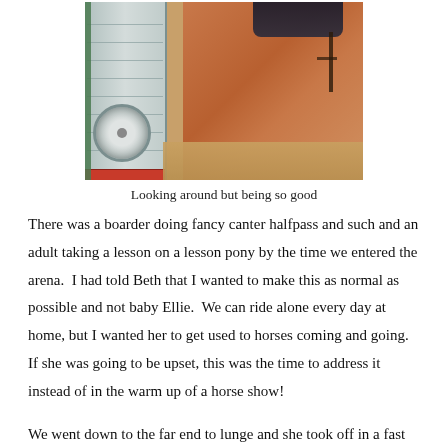[Figure (photo): A horse viewed from behind near a silver horse trailer, with bridle/tack visible on its back, standing on sandy ground.]
Looking around but being so good
There was a boarder doing fancy canter halfpass and such and an adult taking a lesson on a lesson pony by the time we entered the arena.  I had told Beth that I wanted to make this as normal as possible and not baby Ellie.  We can ride alone every day at home, but I wanted her to get used to horses coming and going.  If she was going to be upset, this was the time to address it instead of in the warm up of a horse show!
We went down to the far end to lunge and she took off in a fast trot.  I let her move out like that for about thirty seconds to get whatever sillies out, and I was pleased when she came back to the walk when I